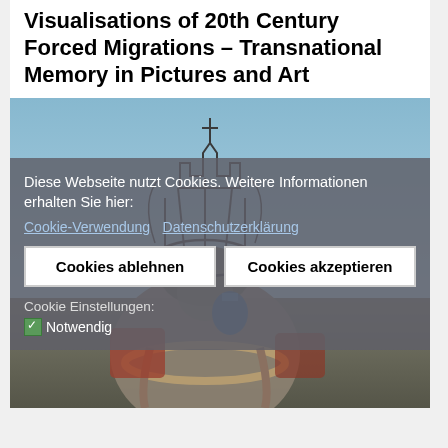Visualisations of 20th Century Forced Migrations – Transnational Memory in Pictures and Art
[Figure (photo): Photograph of a large sculptural figure/backpack installation outdoors with wire structure on top resembling a castle or monument, against a blue sky background. A cookie consent overlay is superimposed on the lower portion of the image.]
Diese Webseite nutzt Cookies. Weitere Informationen erhalten Sie hier:
Cookie-Verwendung   Datenschutzerklärung
Cookies ablehnen
Cookies akzeptieren
Cookie Einstellungen:
✓ Notwendig